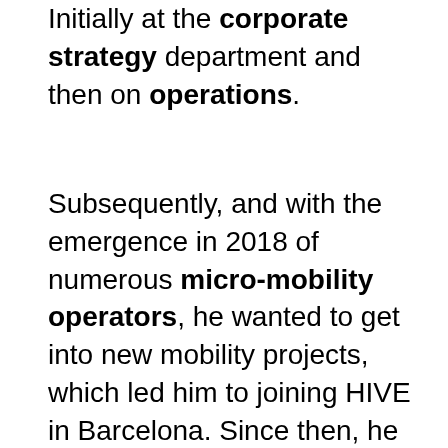Initially at the corporate strategy department and then on operations.
Subsequently, and with the emergence in 2018 of numerous micro-mobility operators, he wanted to get into new mobility projects, which led him to joining HIVE in Barcelona. Since then, he has been working on different projects as a consultant and as a business developer.